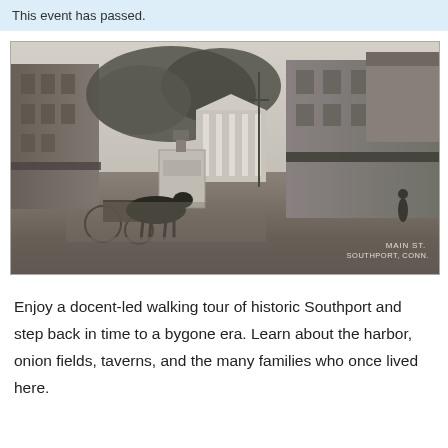This event has passed.
[Figure (photo): Black and white historical photograph of Main St., Southport, Conn., showing a horse and cart near a stone monument/watering trough, historic buildings on both sides of the street, and trees in the background. Caption reads: MAIN ST. SOUTHPORT, CONN.]
Enjoy a docent-led walking tour of historic Southport and step back in time to a bygone era. Learn about the harbor, onion fields, taverns, and the many families who once lived here.